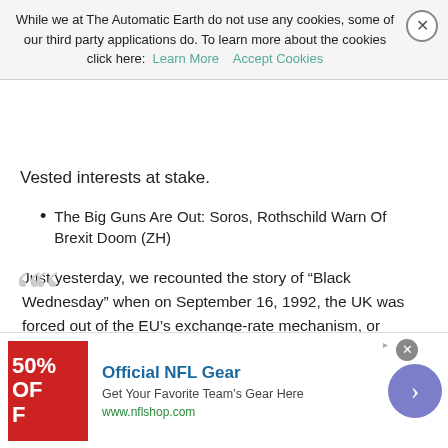While we at The Automatic Earth do not use any cookies, some of our third party applications do. To learn more about the cookies click here: Learn More  Accept Cookies
Vested interests at stake.
The Big Guns Are Out: Soros, Rothschild Warn Of Brexit Doom (ZH)
Just yesterday, we recounted the story of “Black Wednesday” when on September 16, 1992, the UK was forced out of the EU’s exchange-rate mechanism, or ERM, when the BOE tapped out and allowed the British pound to float freely, leading to 15% losses in the sterling. As we noted, this was George Soros’ infamous trade which “broke the Bank of England” and made the Hungarian richer by over $1.5 bilion. 24 years later Soros is back, and this time he is warning against the kind of devaluation that made him a billionaire and which he believes will be unleashed by Brexit, when in a Guardian Op-Ed h
[Figure (screenshot): Advertisement banner for Official NFL Gear with red image showing '50% OFF', text 'Get Your Favorite Team’s Gear Here', URL www.nflshop.com, and a purple circular arrow button]